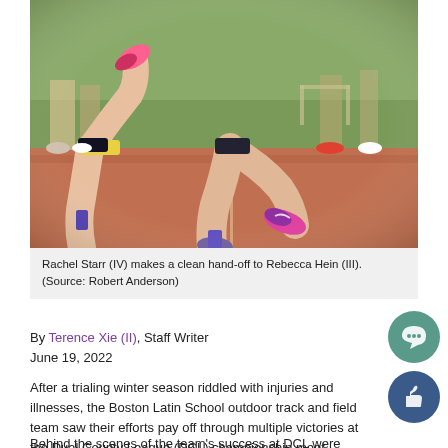[Figure (photo): Close-up photo of runners' legs on a red track during a relay race baton hand-off. Two athletes mid-stride on red track surface, wearing running shorts and colorful sneakers. Background shows green grass field and other people.]
Rachel Starr (IV) makes a clean hand-off to Rebecca Hein (III). (Source: Robert Anderson)
By Terence Xie (II), Staff Writer
June 19, 2022
After a trialing winter season riddled with injuries and illnesses, the Boston Latin School outdoor track and field team saw their efforts pay off through multiple victories at the Dual County League (DCL) championship meet.
Behind the scenes of the team's success at DCL were